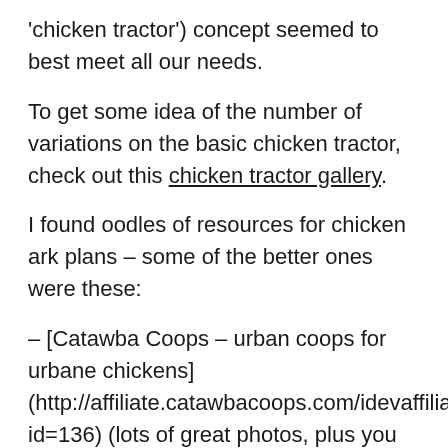'chicken tractor') concept seemed to best meet all our needs.
To get some idea of the number of variations on the basic chicken tractor, check out this chicken tractor gallery.
I found oodles of resources for chicken ark plans – some of the better ones were these:
– [Catawba Coops – urban coops for urbane chickens] (http://affiliate.catawbacoops.com/idevaffiliate.php?id=136) (lots of great photos, plus you can buy downloadable chicken ark plans)
– [Building A Chicken Coop]